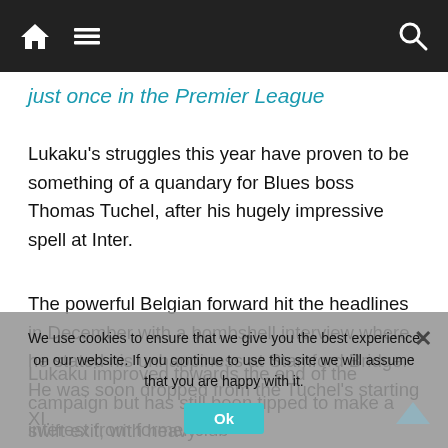Navigation bar with home, menu, and search icons
just once in the Premier League
Lukaku's struggles this year have proven to be something of a quandary for Blues boss Thomas Tuchel, after his hugely impressive spell at Inter.
The powerful Belgian forward hit the headlines in December with a bombshell interview where he stated his unhappiness at Stamford Bridge. He was soon dropped from the Tuchel's starting XI.
Lukaku improved towards the end of the campaign but has still been tipped to make a swift exit, with heavy interest from former club Inter.
Much had been made of Lukaku's return to west London last summer as he sought to conclude unfinished business he had in the Premier League, following a lacklustre period at Manchester United
We use cookies to ensure that we give you the best experience on our website. If you continue to use this site we will assume that you are happy with it.